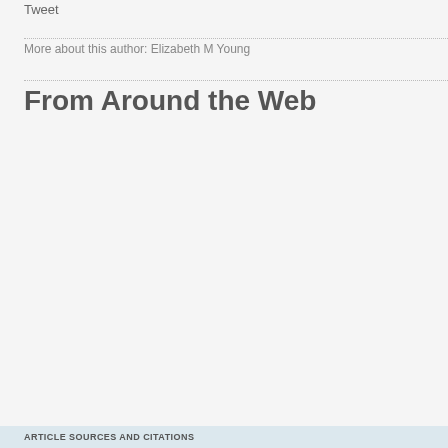Tweet
More about this author: Elizabeth M Young
From Around the Web
ARTICLE SOURCES AND CITATIONS